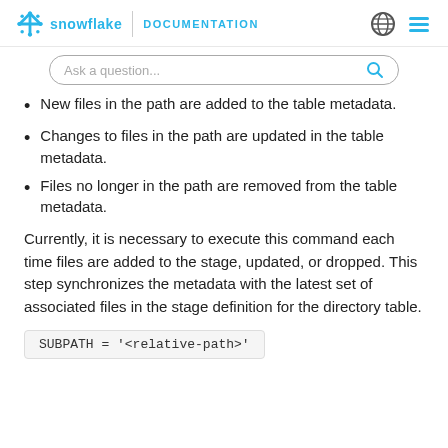snowflake DOCUMENTATION
New files in the path are added to the table metadata.
Changes to files in the path are updated in the table metadata.
Files no longer in the path are removed from the table metadata.
Currently, it is necessary to execute this command each time files are added to the stage, updated, or dropped. This step synchronizes the metadata with the latest set of associated files in the stage definition for the directory table.
SUBPATH = '<relative-path>'